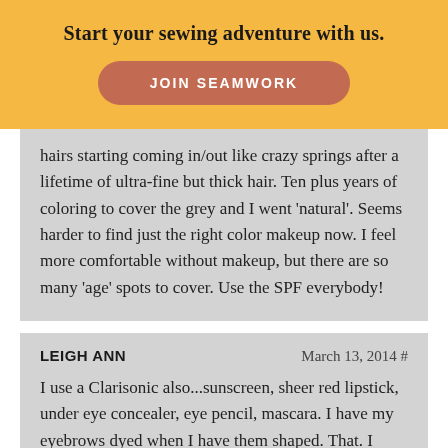Start your sewing adventure with us.
JOIN SEAMWORK
hairs starting coming in/out like crazy springs after a lifetime of ultra-fine but thick hair. Ten plus years of coloring to cover the grey and I went 'natural'. Seems harder to find just the right color makeup now. I feel more comfortable without makeup, but there are so many 'age' spots to cover. Use the SPF everybody!
LEIGH ANN
March 13, 2014 #
I use a Clarisonic also...sunscreen, sheer red lipstick, under eye concealer, eye pencil, mascara. I have my eyebrows dyed when I have them shaped. That. I love–my eyebrows are naturally